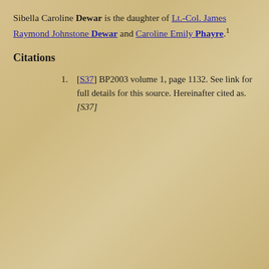Sibella Caroline Dewar is the daughter of Lt.-Col. James Raymond Johnstone Dewar and Caroline Emily Phayre.1
Citations
[S37] BP2003 volume 1, page 1132. See link for full details for this source. Hereinafter cited as. [S37]